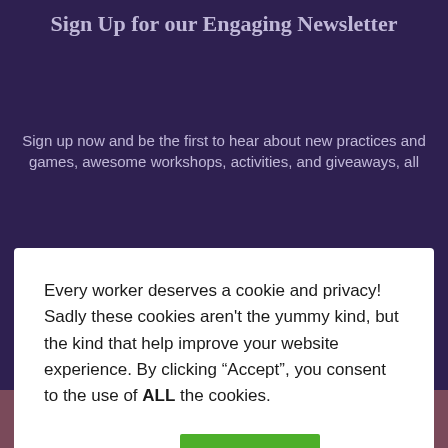Sign Up for our Engaging Newsletter
Sign up now and be the first to hear about new practices and games, awesome workshops, activities, and giveaways, all
Every worker deserves a cookie and privacy! Sadly these cookies aren't the yummy kind, but the kind that help improve your website experience. By clicking “Accept”, you consent to the use of ALL the cookies.
Cookie settings  ACCEPT